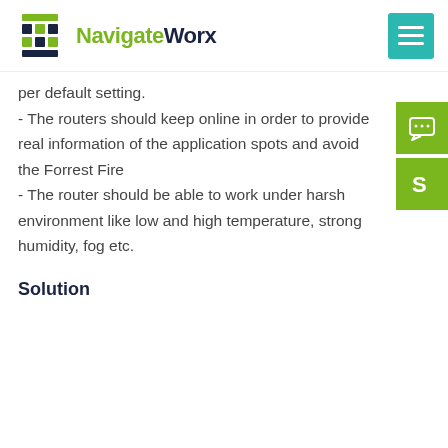NavigateWorx
per default setting.
- The routers should keep online in order to provide real information of the application spots and avoid the Forrest Fire
- The router should be able to work under harsh environment like low and high temperature, strong humidity, fog etc.
Solution